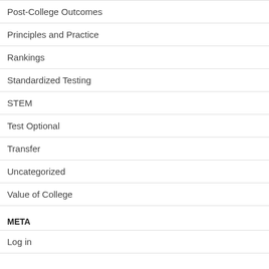Post-College Outcomes
Principles and Practice
Rankings
Standardized Testing
STEM
Test Optional
Transfer
Uncategorized
Value of College
META
Log in